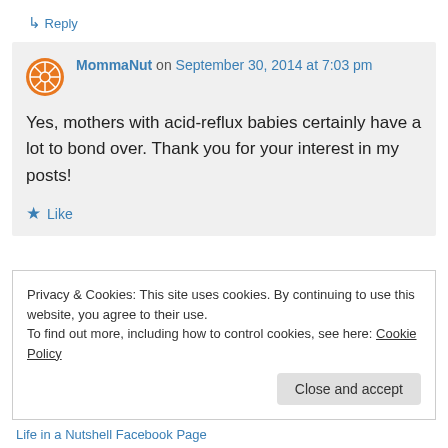↳ Reply
MommaNut on September 30, 2014 at 7:03 pm
Yes, mothers with acid-reflux babies certainly have a lot to bond over. Thank you for your interest in my posts!
★ Like
Privacy & Cookies: This site uses cookies. By continuing to use this website, you agree to their use.
To find out more, including how to control cookies, see here: Cookie Policy
Close and accept
Life in a Nutshell Facebook Page